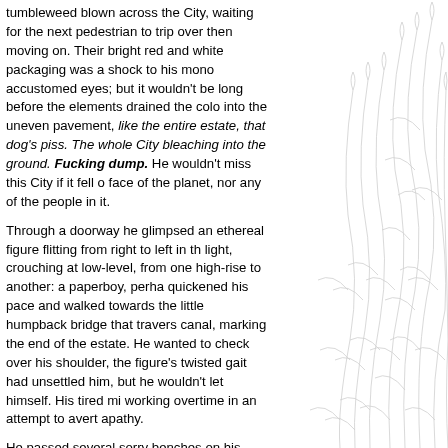tumbleweed blown across the City, waiting for the next pedestrian to trip over then moving on. Their bright red and white packaging was a shock to his mono accustomed eyes; but it wouldn't be long before the elements drained the colo into the uneven pavement, like the entire estate, that dog's piss. The whole Cit bleaching into the ground. Fucking dump. He wouldn't miss this City if it fell o face of the planet, nor any of the people in it.

Through a doorway he glimpsed an ethereal figure flitting from right to left in th light, crouching at low-level, from one high-rise to another: a paperboy, perha quickened his pace and walked towards the little humpback bridge that travers canal, marking the end of the estate. He wanted to check over his shoulder, the figure's twisted gait had unsettled him, but he wouldn't let himself. His tired mi working overtime in an attempt to avert apathy.

He passed several sorry benches on his approach to the canal. Of course they unoccupied at this time of day, broken-backed and empty with a thick coating o graffiti, or bird shit, or both. Their emptiness seemed appropriate; this route wa quiet, eerie. At least there were people on his usual walk to work. Like that old sat on the bench; he was slightly more animated than the gaunt buildings in th the City, casting their heavy shadows that made Howard stoop unconsciously whenever he was out and about, but certainly less so than the streamers of rub that twisted in the wake of countless cars: paper, chicken bones, sticky messe and choking, cooking in exhaust fumes.
[Figure (illustration): Decorative illustration of tall grass or reeds drawn in pencil/ink style, positioned on the right side of the page overlapping the text area.]